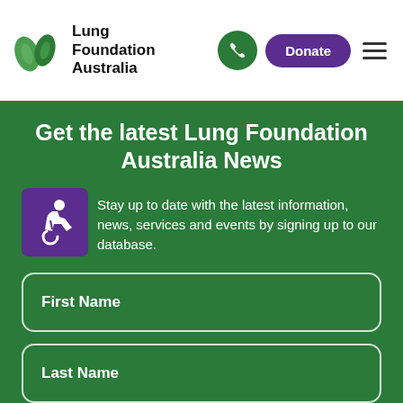[Figure (logo): Lung Foundation Australia logo with green leaf icons and bold text]
Get the latest Lung Foundation Australia News
Stay up to date with the latest information, news, services and events by signing up to our database.
First Name
Last Name
Email